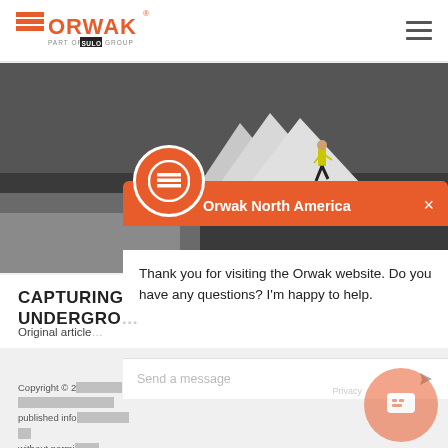ORWAK - PART OF SULO GROUP
[Figure (screenshot): Hero image showing a person in a yellow safety vest walking on a dark tarmac surface, with white geometric structures visible in the background.]
CAPTURING UNDERGROUND
Original article
[Figure (screenshot): Orwak North America chat widget popup. Shows the Orwak logo circle icon, a title 'Orwak North America', a message 'Thank you for visiting the Orwak website. Do you have any questions? I'm happy to help.', a 'Send a message' input box, and a send arrow button. There is also a floating orange chat button at the bottom right with a Privacy label.]
Copyright © 2 published info without permi.